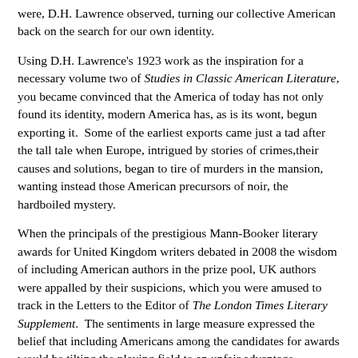were, D.H. Lawrence observed, turning our collective American back on the search for our own identity.
Using D.H. Lawrence's 1923 work as the inspiration for a necessary volume two of Studies in Classic American Literature, you became convinced that the America of today has not only found its identity, modern America has, as is its wont, begun exporting it.  Some of the earliest exports came just a tad after the tall tale when Europe, intrigued by stories of crimes,their causes and solutions, began to tire of murders in the mansion, wanting instead those American precursors of noir, the hardboiled mystery.
When the principals of the prestigious Mann-Booker literary awards for United Kingdom writers debated in 2008 the wisdom of including American authors in the prize pool, UK authors were appalled by their suspicions, which you were amused to track in the Letters to the Editor of The London Times Literary Supplement.  The sentiments in large measure expressed the belief that including Americans among the candidates for awards would be tilting the playing field to an unfair advantage.